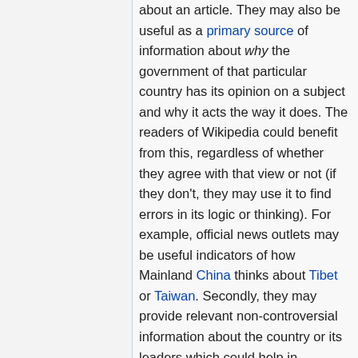about an article. They may also be useful as a primary source of information about why the government of that particular country has its opinion on a subject and why it acts the way it does. The readers of Wikipedia could benefit from this, regardless of whether they agree with that view or not (if they don't, they may use it to find errors in its logic or thinking). For example, official news outlets may be useful indicators of how Mainland China thinks about Tibet or Taiwan. Secondly, they may provide relevant non-controversial information about the country or its leaders which could help in improving the article on that topic, for instance, date and place of birth, occupation of leaders, cultural heritage, dialects, and other still it...